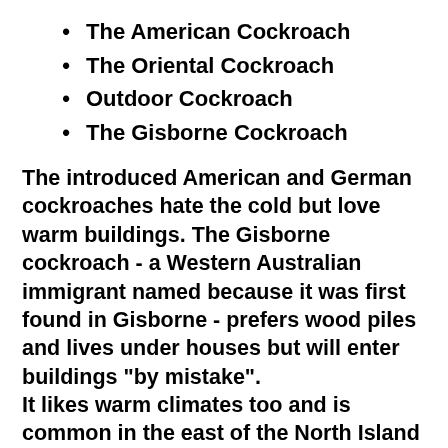The American Cockroach
The Oriental Cockroach
Outdoor Cockroach
The Gisborne Cockroach
The introduced American and German cockroaches hate the cold but love warm buildings. The Gisborne cockroach - a Western Australian immigrant named because it was first found in Gisborne - prefers wood piles and lives under houses but will enter buildings "by mistake".
It likes warm climates too and is common in the east of the North Island but has also been found at the top of the South Island.